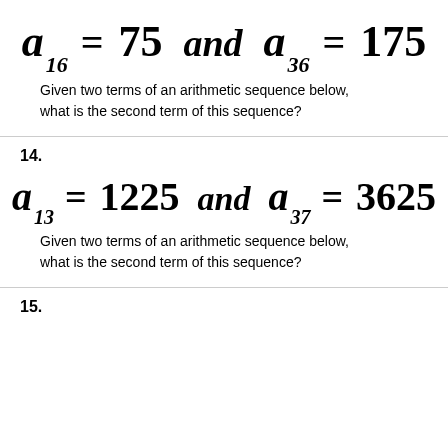Given two terms of an arithmetic sequence below, what is the second term of this sequence?
14.
Given two terms of an arithmetic sequence below, what is the second term of this sequence?
15.